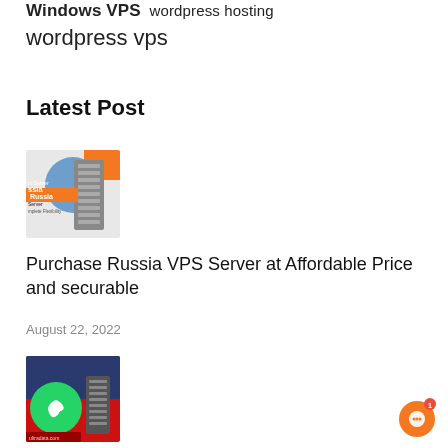Windows VPS wordpress hosting wordpress vps
Latest Post
[Figure (photo): Server rack image with orange and blue design, text: Russia Server, Complete Flexibility]
Purchase Russia VPS Server at Affordable Price and securable
August 22, 2022
[Figure (photo): WhatsApp logo with server/VPS image on red/blue background]
[Figure (other): Orange chat/support button with notification badge showing 1]